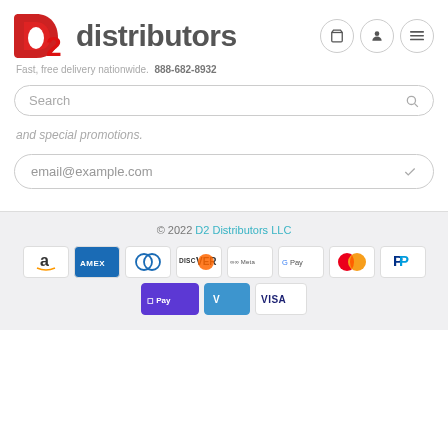[Figure (logo): D2 Distributors logo with red stylized 'd2' icon and gray 'distributors' text]
Fast, free delivery nationwide.  888-682-8932
Search
and special promotions.
email@example.com
© 2022 D2 Distributors LLC
[Figure (infographic): Payment method icons: Amazon Pay, American Express, Diners Club, Discover, Meta Pay, Google Pay, Mastercard, PayPal, Apple Pay/OPay, Venmo, Visa]